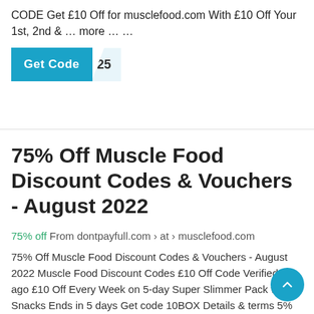CODE Get £10 Off for musclefood.com With £10 Off Your 1st, 2nd & … more … …
[Figure (other): A teal 'Get Code' button with a light blue arrow/tab showing the code '25']
75% Off Muscle Food Discount Codes & Vouchers - August 2022
75% off From dontpayfull.com › at › musclefood.com
75% Off Muscle Food Discount Codes & Vouchers - August 2022 Muscle Food Discount Codes £10 Off Code Verified 7h ago £10 Off Every Week on 5-day Super Slimmer Pack with Snacks Ends in 5 days Get code 10BOX Details & terms 5% Off Code 5% Off Only Ends in 4 months Get code NEW5 Details & terms £10 Off Code …